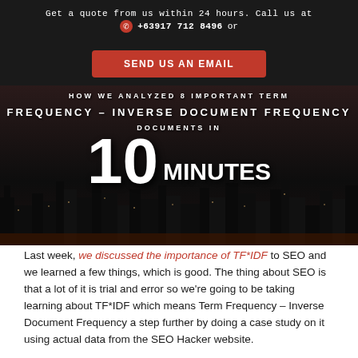Get a quote from us within 24 hours. Call us at +63917 712 8496 or
SEND US AN EMAIL
[Figure (photo): Dark cityscape hero image with white bold text overlay reading: HOW WE ANALYZED 8 IMPORTANT TERM / FREQUENCY – INVERSE DOCUMENT FREQUENCY / DOCUMENTS IN 10 MINUTES]
Last week, we discussed the importance of TF*IDF to SEO and we learned a few things, which is good. The thing about SEO is that a lot of it is trial and error so we're going to be taking learning about TF*IDF which means Term Frequency – Inverse Document Frequency a step further by doing a case study on it using actual data from the SEO Hacker website.
CONTINUE READING